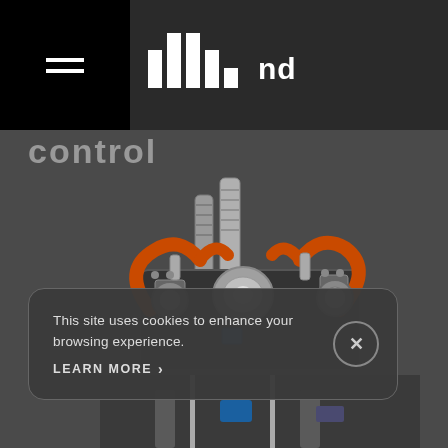nd control
[Figure (photo): Close-up photograph of a complex mechanical engine with orange heat-shielded tubes/hoses, chrome steel pipes, and various mechanical components on a dark gray background.]
This site uses cookies to enhance your browsing experience.
LEARN MORE >